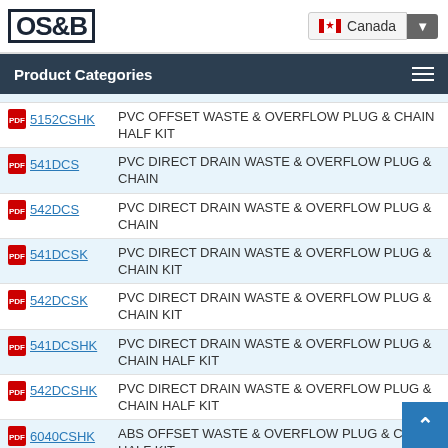[Figure (logo): OS&B company logo with border]
Canada (country selector with flag)
Product Categories
5152CSHK — PVC OFFSET WASTE & OVERFLOW PLUG & CHAIN HALF KIT
541DCS — PVC DIRECT DRAIN WASTE & OVERFLOW PLUG & CHAIN
542DCS — PVC DIRECT DRAIN WASTE & OVERFLOW PLUG & CHAIN
541DCSK — PVC DIRECT DRAIN WASTE & OVERFLOW PLUG & CHAIN KIT
542DCSK — PVC DIRECT DRAIN WASTE & OVERFLOW PLUG & CHAIN KIT
541DCSHK — PVC DIRECT DRAIN WASTE & OVERFLOW PLUG & CHAIN HALF KIT
542DCSHK — PVC DIRECT DRAIN WASTE & OVERFLOW PLUG & CHAIN HALF KIT
6040CSHK — ABS OFFSET WASTE & OVERFLOW PLUG & CHAIN HALF KIT
6041CSHK — ABS OFFSET WASTE & OVERFLOW PLUG & CHAIN HALF KIT
6042CSHK — ABS OFFSET WASTE & OVERFLOW PLUG & CHAIN HALF KIT